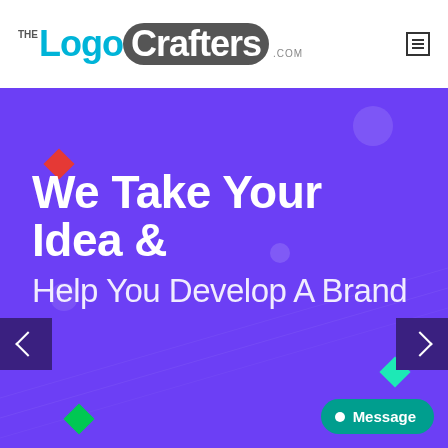[Figure (logo): TheLogoCrafters.com logo with blue 'Logo' text and grey rounded rectangle background for 'Crafters' text]
[Figure (screenshot): Hero banner with purple background (#6c3ff5), decorative diamond shapes in red, teal, and green, circular blur elements, navigation arrows on left and right sides, and a Message chat button at bottom right]
We Take Your Idea &
Help You Develop A Brand